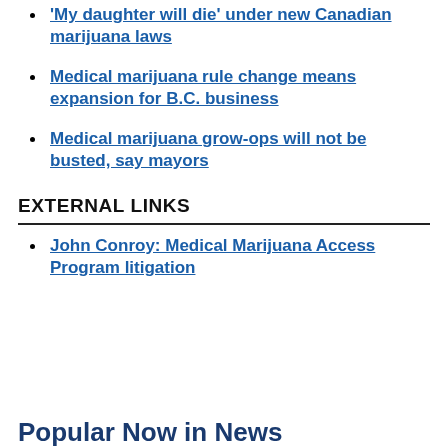'My daughter will die' under new Canadian marijuana laws
Medical marijuana rule change means expansion for B.C. business
Medical marijuana grow-ops will not be busted, say mayors
EXTERNAL LINKS
John Conroy: Medical Marijuana Access Program litigation
Popular Now in News